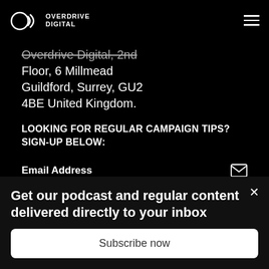Overdrive Digital
Overdrive Digital, 2nd Floor, 6 Millmead Guildford, Surrey, GU2 4BE United Kingdom.
LOOKING FOR REGULAR CAMPAIGN TIPS? SIGN-UP BELOW:
Email Address
[Figure (other): Pink/magenta subscription button bar]
Get our podcast and regular content delivered directly to your inbox
Subscribe now